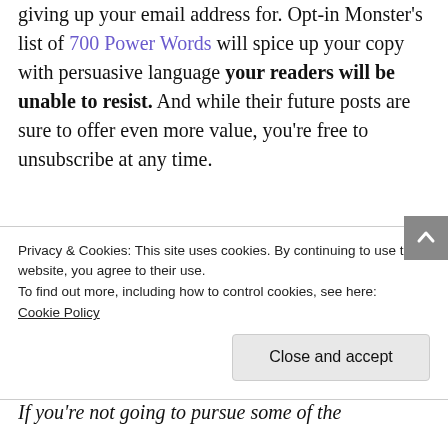giving up your email address for. Opt-in Monster's list of 700 Power Words will spice up your copy with persuasive language your readers will be unable to resist. And while their future posts are sure to offer even more value, you're free to unsubscribe at any time.
Wrapping Up
Although these tools do different functions, they all deserve a place in your bag of tricks. Starting with a free trial makes the decision simpler since you can upgrade your
Privacy & Cookies: This site uses cookies. By continuing to use this website, you agree to their use.
To find out more, including how to control cookies, see here:
Cookie Policy
Close and accept
If you're not going to pursue some of the